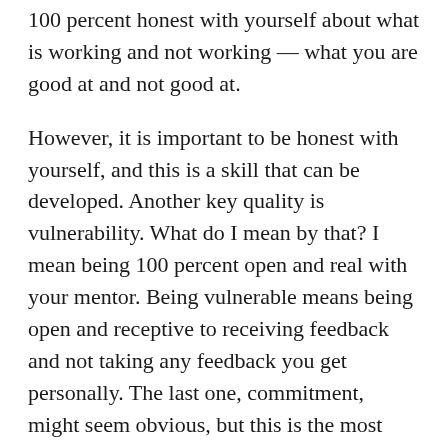100 percent honest with yourself about what is working and not working — what you are good at and not good at.
However, it is important to be honest with yourself, and this is a skill that can be developed. Another key quality is vulnerability. What do I mean by that? I mean being 100 percent open and real with your mentor. Being vulnerable means being open and receptive to receiving feedback and not taking any feedback you get personally. The last one, commitment, might seem obvious, but this is the most important quality. Many people decide real estate investing is too hard, takes too long, and is not worth the effort. I can tell you that it takes 100 percent commitment and not looking back to be successful in this